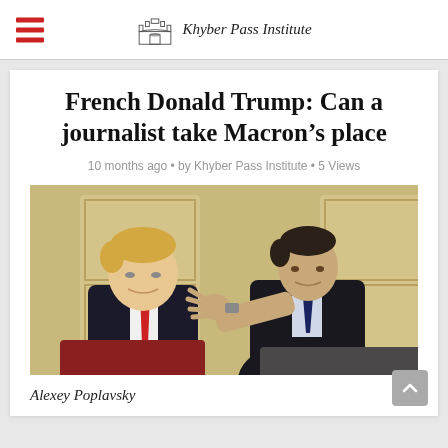Khyber Pass Institute
French Donald Trump: Can a journalist take Macron's place
10 months ago • by Khyber Pass Institute • 5 Views
[Figure (photo): Two men in suits seated across from each other in an ornate room — one wearing a red tie (left), the other in a dark suit gesturing with his hand (right)]
Alexey Poplavsky